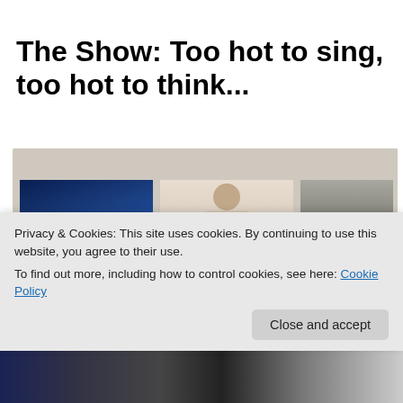The Show: Too hot to sing, too hot to think...
[Figure (photo): A screenshot of a music or media website showing a collage of three album covers or artist photos. Left panel shows a blue abstract/dark image labeled 'rapids - Parker and Cardigan Bay'. Center panel shows a woman in a white tank top labeled 'Quasi Cool - Camele Sparksss'. Right panel shows a dark silhouette image labeled 'Drops - Champagne Duo'. Below are more album thumbnails including one labeled 'EKUKA'.]
Privacy & Cookies: This site uses cookies. By continuing to use this website, you agree to their use.
To find out more, including how to control cookies, see here: Cookie Policy